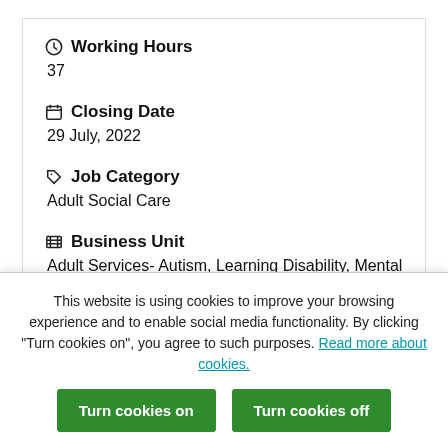Working Hours
37
Closing Date
29 July, 2022
Job Category
Adult Social Care
Business Unit
Adult Services- Autism, Learning Disability, Mental Health and Physical Disability
This website is using cookies to improve your browsing experience and to enable social media functionality. By clicking “Turn cookies on”, you agree to such purposes. Read more about cookies.